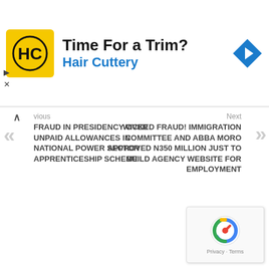[Figure (infographic): Hair Cuttery advertisement banner with yellow logo showing HC monogram, text 'Time For a Trim?' and 'Hair Cuttery' in blue, blue diamond navigation icon on the right]
vious
FRAUD IN PRESIDENCY OVER UNPAID ALLOWANCES IN NATIONAL POWER SECTOR APPRENTICESHIP SCHEME
Next
WICKED FRAUD! IMMIGRATION COMMITTEE AND ABBA MORO APPROVED N350 MILLION JUST TO BUILD AGENCY WEBSITE FOR EMPLOYMENT
[Figure (logo): reCAPTCHA widget with Google reCAPTCHA logo and Privacy · Terms text]